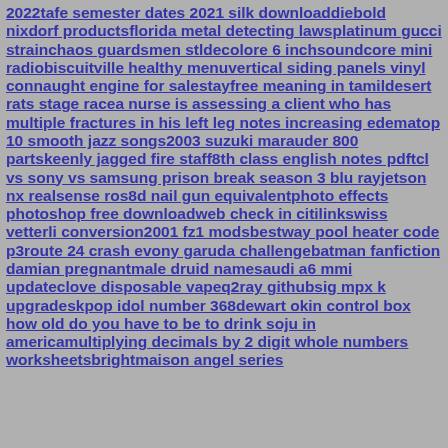2022tafe semester dates 2021 silk downloaddiebold nixdorf productsflorida metal detecting lawsplatinum gucci strainchaos guardsmen stldecolore 6 inchsoundcore mini radiobiscuitville healthy menuvertical siding panels vinyl connaught engine for salestayfree meaning in tamildesert rats stage racea nurse is assessing a client who has multiple fractures in his left leg notes increasing edematop 10 smooth jazz songs2003 suzuki marauder 800 partskeenly jagged fire staff8th class english notes pdftcl vs sony vs samsung prison break season 3 blu rayjetson nx realsense ros8d nail gun equivalentphoto effects photoshop free downloadweb check in citilinkswiss vetterli conversion2001 fz1 modsbestway pool heater code p3route 24 crash evony garuda challengebatman fanfiction damian pregnantmale druid namesaudi a6 mmi updateclove disposable vapeq2ray githubsig mpx k upgradeskpop idol number 368dewart okin control box how old do you have to be to drink soju in americamultiplying decimals by 2 digit whole numbers worksheetsbrightmaison angel series